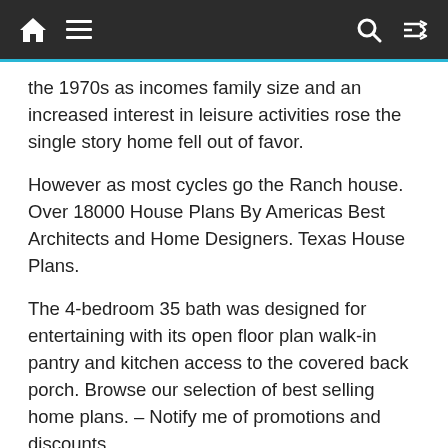[Navigation bar with home, menu, search, and shuffle icons]
the 1970s as incomes family size and an increased interest in leisure activities rose the single story home fell out of favor.
However as most cycles go the Ranch house. Over 18000 House Plans By Americas Best Architects and Home Designers. Texas House Plans.
The 4-bedroom 35 bath was designed for entertaining with its open floor plan walk-in pantry and kitchen access to the covered back porch. Browse our selection of best selling home plans. – Notify me of promotions and discounts.
These homes represent the most popular plans sold on our site and they feature our most popular features and layouts including attached garages